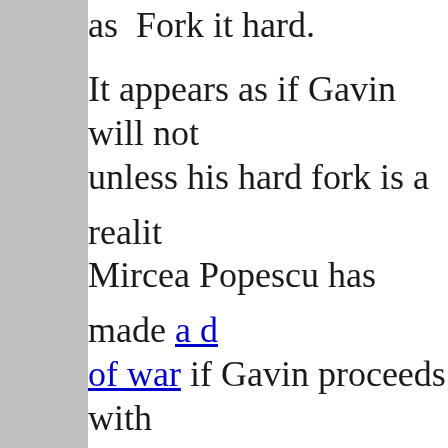as Fork it hard.
It appears as if Gavin will not unless his hard fork is a reality. Mircea Popescu has made a declaration of war if Gavin proceeds with
There have only ever been two of the blockchain in the history of Bitcoin, and both nearly killed it. The first was overseen by Satoshi attempt to fix the worst Bitcoin to date, and an unforeseen for